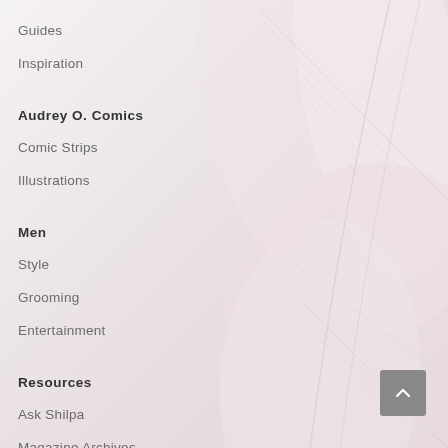Guides
Inspiration
Audrey O. Comics
Comic Strips
Illustrations
Men
Style
Grooming
Entertainment
Resources
Ask Shilpa
Magazine Archives
[Figure (illustration): Soft pink and white feather/flower petal background image occupying the right portion of the page]